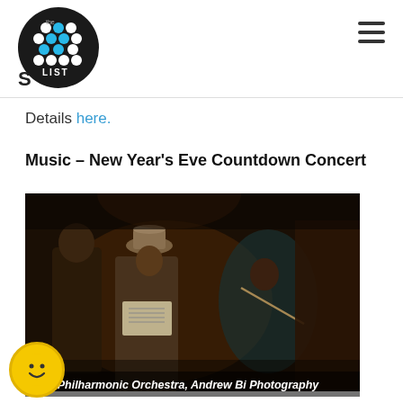the LIST [logo]
Details here.
Music – New Year's Eve Countdown Concert
[Figure (photo): Orchestra performance photo. A man wearing a copper-colored pot as a hat and dressed in a grey suit holds sheet music, performing with an orchestra. A woman in a teal dress plays strings in the background.]
The Philharmonic Orchestra, Andrew Bi Photography